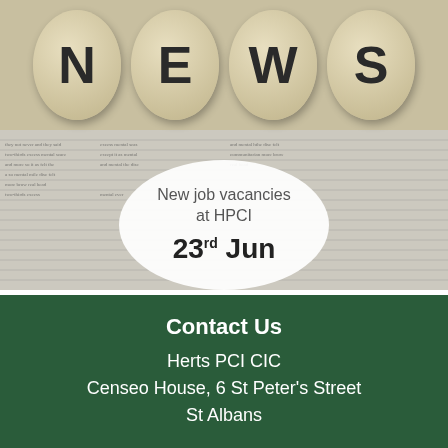[Figure (photo): Photo of four round wooden Scrabble-like tiles spelling NEWS sitting on top of a newspaper page, with a white semi-transparent circle overlay showing text 'New job vacancies at HPCI' and date '23rd Jun']
New job vacancies at HPCI
23rd Jun
Contact Us
Herts PCI CIC
Censeo House, 6 St Peter's Street
St Albans